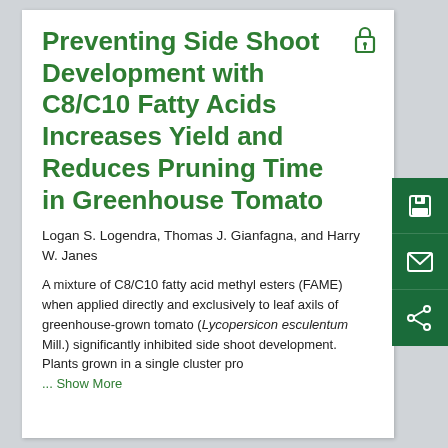Preventing Side Shoot Development with C8/C10 Fatty Acids Increases Yield and Reduces Pruning Time in Greenhouse Tomato
Logan S. Logendra, Thomas J. Gianfagna, and Harry W. Janes
A mixture of C8/C10 fatty acid methyl esters (FAME) when applied directly and exclusively to leaf axils of greenhouse-grown tomato (Lycopersicon esculentum Mill.) significantly inhibited side shoot development. Plants grown in a single cluster pro ... Show More